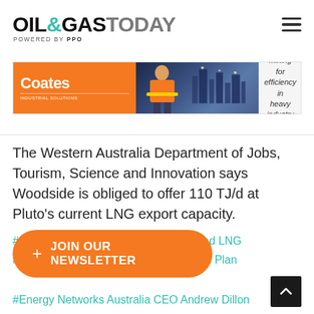OIL&GASTODAY POWERED BY PPO
[Figure (infographic): Coates Industrial Solutions advertisement banner. Left section: orange background with Coates logo and 'INDUSTRIAL SOLUTIONS' text. Middle: photo of an industrial worker in safety gear against a dark blue cityscape background. Right: light grey background with text 'Mining for efficiency in heavy industry'.]
The Western Australia Department of Jobs, Tourism, Science and Innovation says Woodside is obliged to offer 110 TJ/d at Pluto's current LNG export capacity.
#APGA CEO Steve Davies  #Bear Head LNG
#Cimic Group  #Decarbonisation Action Plan
#Energy Networks Australia CEO Andrew Dillon
#exploration permits EP503 and EP504